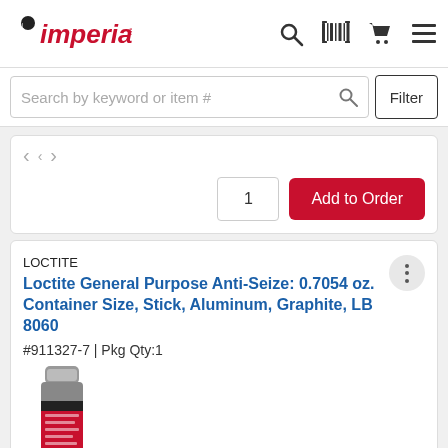Imperial
Search by keyword or item #
Filter
1  Add to Order
LOCTITE
Loctite General Purpose Anti-Seize: 0.7054 oz. Container Size, Stick, Aluminum, Graphite, LB 8060
#911327-7 | Pkg Qty:1
[Figure (photo): Loctite LB 8060 anti-seize stick product photo — gray cylindrical stick with red and black label]
$11.90 pkg